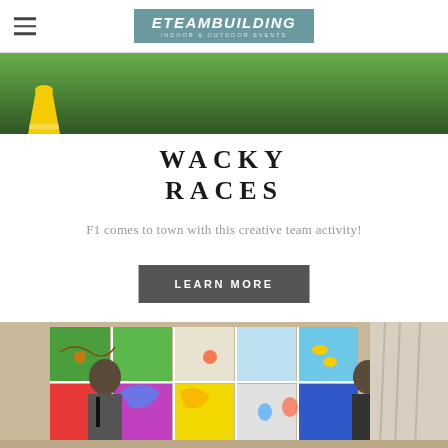[Figure (screenshot): Navigation bar with hamburger menu icon on the left and ETEAMBUILDING logo (indoor & outdoor events) centered on a teal/slate background]
[Figure (photo): Close-up photo strip of bright green grass with a yellow traffic cone on the left]
WACKY RACES
F1 comes to town with this creative team activity!
[Figure (screenshot): Dark grey 'LEARN MORE' button]
[Figure (photo): Two men in dark suits standing in front of a large colorful mosaic painting on a wall, in an indoor venue setting]